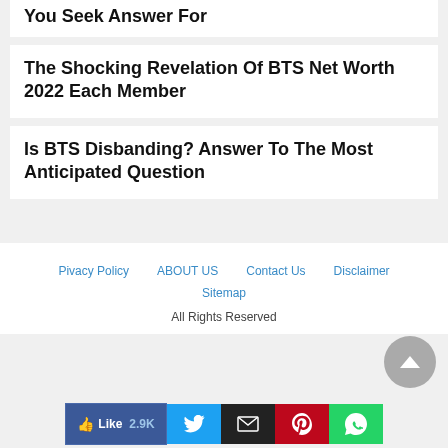You Seek Answer For
The Shocking Revelation Of BTS Net Worth 2022 Each Member
Is BTS Disbanding? Answer To The Most Anticipated Question
Pivacy Policy   ABOUT US   Contact Us   Disclaimer   Sitemap
All Rights Reserved
[Figure (other): Social share bar with Facebook like (2.9K), Twitter, Email, Pinterest, WhatsApp buttons]